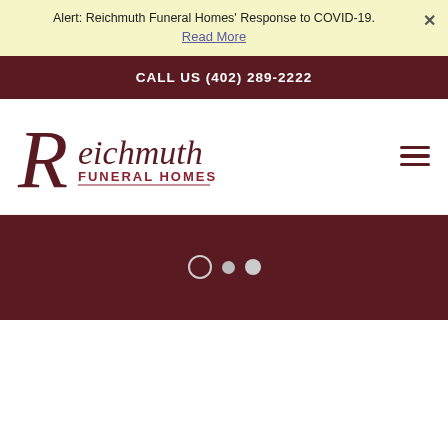Alert: Reichmuth Funeral Homes' Response to COVID-19. Read More
CALL US (402) 289-2222
[Figure (logo): Reichmuth Funeral Homes logo with decorative R script lettering in dark maroon]
[Figure (illustration): Hamburger/menu icon with three horizontal lines in dark maroon]
[Figure (illustration): Slider navigation dots: one open circle and two filled circles on dark maroon background]